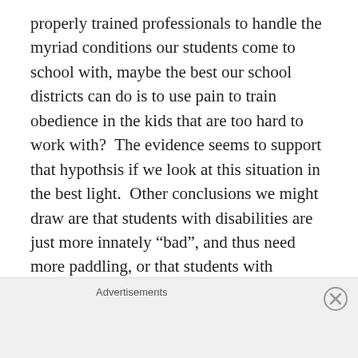properly trained professionals to handle the myriad conditions our students come to school with, maybe the best our school districts can do is to use pain to train obedience in the kids that are too hard to work with?  The evidence seems to support that hypothsis if we look at this situation in the best light.  Other conclusions we might draw are that students with disabilities are just more innately “bad”, and thus need more paddling, or that students with disabilities are easy targets and/or administrators administering corporal punishment derive some form of deviant satisfaction or pleasure from spanking children with disabilities.   I can’t really think of any non-
Advertisements